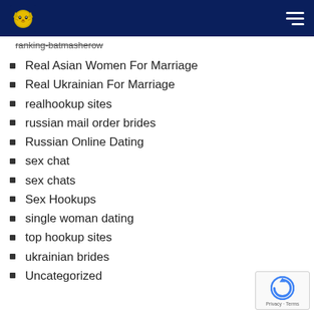[logo] [navigation menu]
ranking-batmasherow
Real Asian Women For Marriage
Real Ukrainian For Marriage
realhookup sites
russian mail order brides
Russian Online Dating
sex chat
sex chats
Sex Hookups
single woman dating
top hookup sites
ukrainian brides
Uncategorized